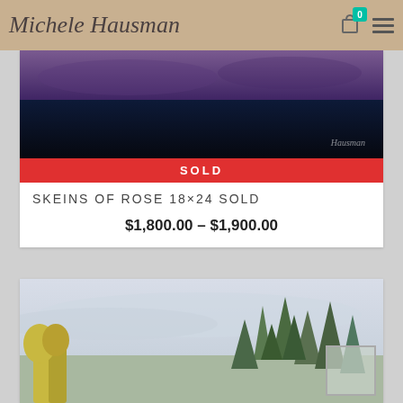Michele Hausman
[Figure (photo): Painting of a dark night sky with purple/blue tones over a dark treeline, artist signature visible at bottom right]
SOLD
SKEINS OF ROSE 18×24 SOLD
$1,800.00 – $1,900.00
[Figure (photo): Landscape painting showing conifer trees (pine/spruce) against a grey overcast sky, with yellowing deciduous trees on the left]